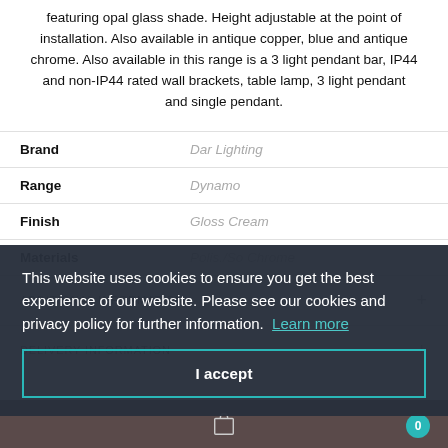featuring opal glass shade. Height adjustable at the point of installation. Also available in antique copper, blue and antique chrome. Also available in this range is a 3 light pendant bar, IP44 and non-IP44 rated wall brackets, table lamp, 3 light pendant and single pendant.
| Attribute | Value |
| --- | --- |
| Brand | Dar Lighting |
| Range | Dynamo |
| Finish | Gloss Cream |
| Materials | Polis./So Chrome |
ADDITIONAL INFORMATION +
DELIVERY INFORMATION +
This website uses cookies to ensure you get the best experience of our website. Please see our cookies and privacy policy for further information. Learn more
I accept